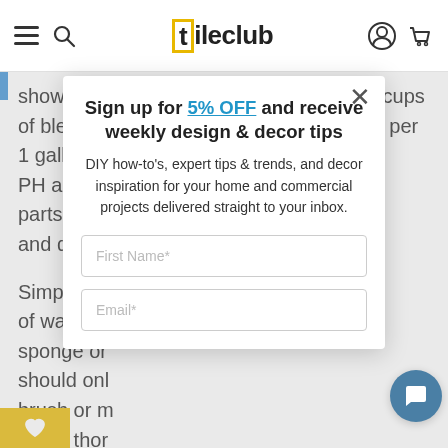[t]ileclub — navigation header with hamburger menu, search icon, logo, account icon, cart icon
shower with bleach is to apply at most ½ cups of bleach (12 percent hydrogen peroxide) per 1 gallon of water. S… PH and ca… parts of bl… and dulling…
Simply add… of warm w… sponge or… should onl… brush or m… areas thor… sit for at le… clean spon…
[Figure (screenshot): Modal popup overlay on tileclub.com with sign-up form: 'Sign up for 5% OFF and receive weekly design & decor tips', description text, First Name and Email input fields, and close button]
Sign up for 5% OFF and receive weekly design & decor tips
DIY how-to's, expert tips & trends, and decor inspiration for your home and commercial projects delivered straight to your inbox.
First Name*
Email*